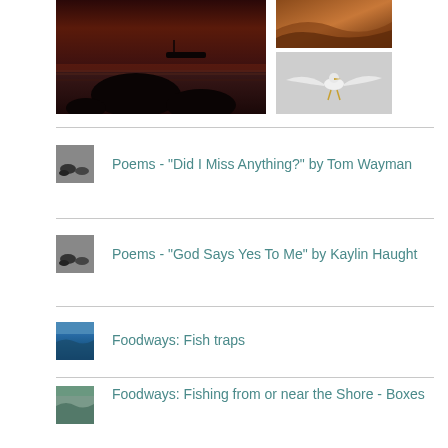[Figure (photo): Dark moody seascape at dusk with rocks and a boat silhouette on the water]
[Figure (photo): Close-up of sandy desert dunes with warm brown tones]
[Figure (photo): White bird (tern or egret) in flight with wings spread against grey sky]
Poems - "Did I Miss Anything?" by Tom Wayman
Poems - "God Says Yes To Me" by Kaylin Haught
Foodways: Fish traps
Foodways: Fishing from or near the Shore - Boxes